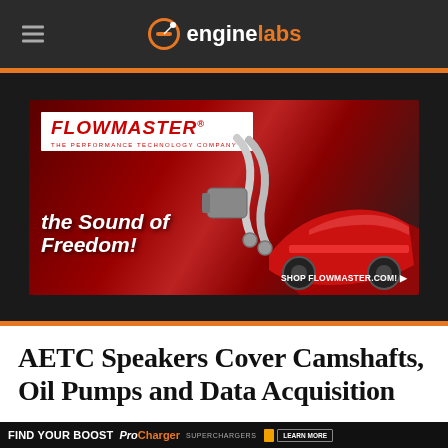enginelabs
[Figure (photo): Flowmaster advertisement banner: red background with Flowmaster logo, exhaust pipes and red sports car image, text 'THE SOUND OF FREEDOM!' and 'SHOP FLOWMASTER.COM!']
AETC Speakers Cover Camshafts, Oil Pumps and Data Acquisition
[Figure (photo): ProCharger advertisement banner: black background with 'FIND YOUR BOOST' text, ProCharger logo and yellow buttons]